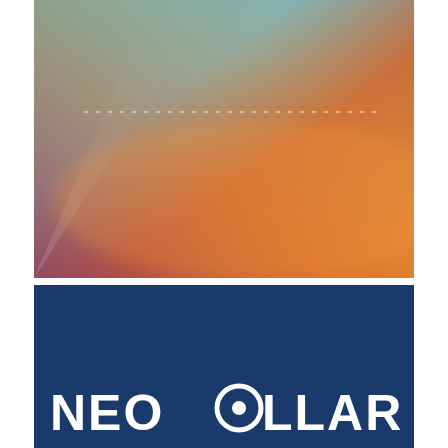[Figure (illustration): Abstract colorful cover image with blue teal tones at top transitioning to warm orange red tones at bottom right, with diagonal light sweep and faint horizontal dashed line in the middle]
[Figure (logo): NEOBOLLARD logo in white bold letters on dark navy blue background]